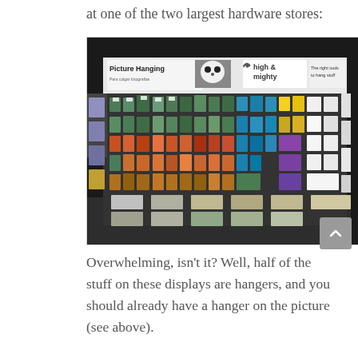at one of the two largest hardware stores:
[Figure (photo): Interior photo of a hardware store aisle showing a large pegboard display wall filled with picture hanging products, hooks, and accessories. Signs visible include 'Picture Hanging', 'high & mighty', and 'The right tools to hang stuff'. The display is densely packed with colorful packaged products.]
Overwhelming, isn't it?  Well, half of the stuff on these displays are hangers, and you should already have a hanger on the picture (see above).